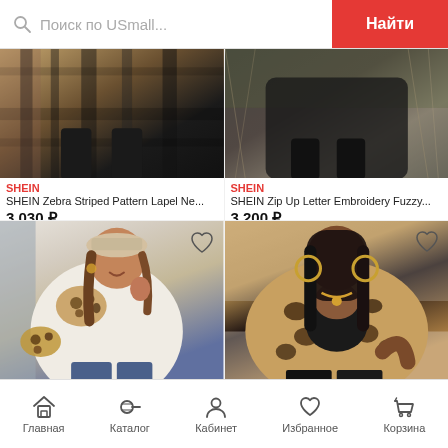Поиск по USmall...  Найти
[Figure (photo): SHEIN zebra striped jacket product photo - top portion visible]
SHEIN
SHEIN Zebra Striped Pattern Lapel Ne...
3 030 ₽
[Figure (photo): SHEIN zip up fuzzy jacket product photo - top portion visible]
SHEIN
SHEIN Zip Up Letter Embroidery Fuzzy...
3 200 ₽
[Figure (photo): Woman wearing white teddy bear jacket with leopard print accents and beige cap]
[Figure (photo): Woman wearing leopard print fuzzy cardigan with large hoop earrings]
Главная  Каталог  Кабинет  Избранное  Корзина